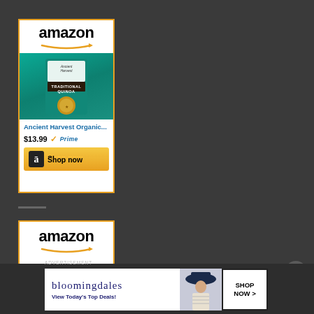[Figure (screenshot): Amazon sponsored ad unit showing Ancient Harvest Organic Traditional Quinoa product at $13.99 with Prime badge and Shop now button]
[Figure (screenshot): Second Amazon ad unit (partially visible) showing Amazon logo and arrow]
[Figure (screenshot): Bloomingdale's banner ad with logo, 'View Today's Top Deals!' tagline, model with hat image, and 'SHOP NOW >' button]